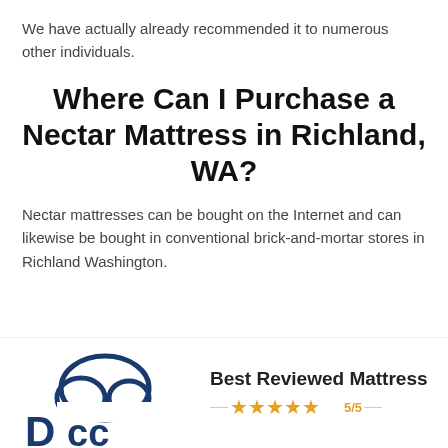We have actually already recommended it to numerous other individuals.
Where Can I Purchase a Nectar Mattress in Richland, WA?
Nectar mattresses can be bought on the Internet and can likewise be bought in conventional brick-and-mortar stores in Richland Washington.
[Figure (logo): Nectar mattress logo with cloud shape and brand icon, alongside a Best Reviewed Mattress badge with 5 gold stars and 5/5 rating]